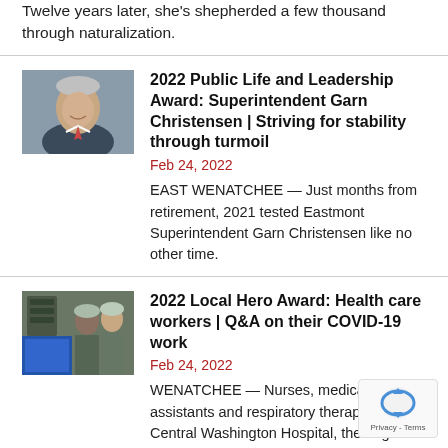Twelve years later, she’s shepherded a few thousand through naturalization.
2022 Public Life and Leadership Award: Superintendent Garn Christensen | Striving for stability through turmoil
Feb 24, 2022
EAST WENATCHEE — Just months from retirement, 2021 tested Eastmont Superintendent Garn Christensen like no other time.
2022 Local Hero Award: Health care workers | Q&A on their COVID-19 work
Feb 24, 2022
WENATCHEE — Nurses, medical assistants and respiratory therapists at Central Washington Hospital, the largest hospital in North Central Washington, have been working tirelessly to keep people alive through the worst of COVID-19 — and they want to talk about it.